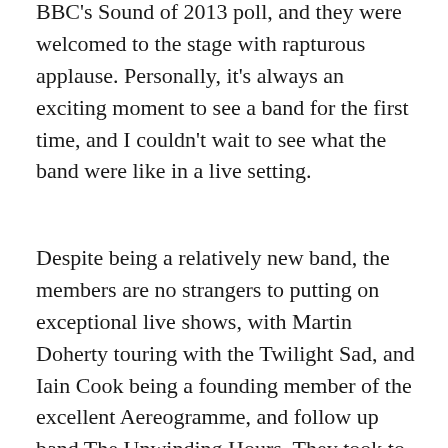BBC's Sound of 2013 poll, and they were welcomed to the stage with rapturous applause. Personally, it's always an exciting moment to see a band for the first time, and I couldn't wait to see what the band were like in a live setting.
Despite being a relatively new band, the members are no strangers to putting on exceptional live shows, with Martin Doherty touring with the Twilight Sad, and Iain Cook being a founding member of the excellent Aereogramme, and follow up band The Unwinding Hours. They took to the stage at around 9.15pm and started off with album standout 'We Sink' before bursting straight in to the